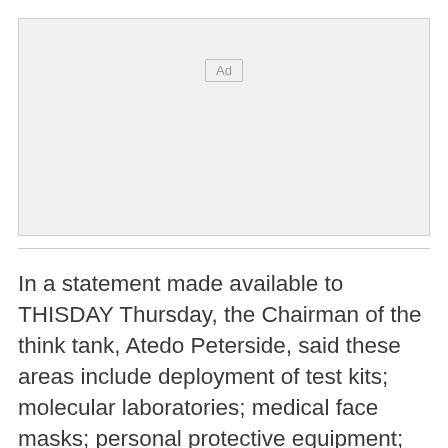[Figure (other): Advertisement placeholder box with 'Ad' label]
In a statement made available to THISDAY Thursday, the Chairman of the think tank, Atedo Peterside, said these areas include deployment of test kits; molecular laboratories; medical face masks; personal protective equipment; respirators and ventilators; Hydroxychloroquine and Azithromycin; and safety nets